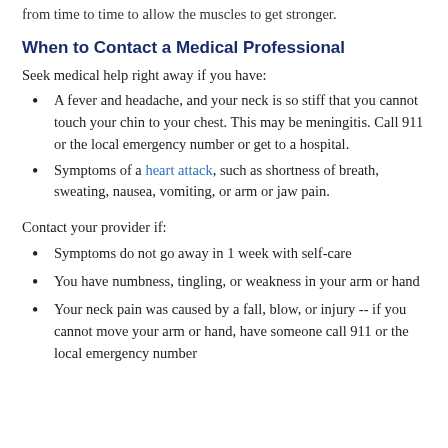from time to time to allow the muscles to get stronger.
When to Contact a Medical Professional
Seek medical help right away if you have:
A fever and headache, and your neck is so stiff that you cannot touch your chin to your chest. This may be meningitis. Call 911 or the local emergency number or get to a hospital.
Symptoms of a heart attack, such as shortness of breath, sweating, nausea, vomiting, or arm or jaw pain.
Contact your provider if:
Symptoms do not go away in 1 week with self-care
You have numbness, tingling, or weakness in your arm or hand
Your neck pain was caused by a fall, blow, or injury -- if you cannot move your arm or hand, have someone call 911 or the local emergency number